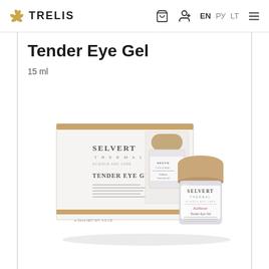TRELIS — navigation with bag icon, add user icon, EN PY LT language switcher, hamburger menu
Tender Eye Gel
15 ml
[Figure (photo): Product photo showing Selvert Thermal Tender Eye Gel — a white box packaging with gold stripe and a small glass jar with beige/gold lid, branded SELVERT THERMAL, KaNavar Tender Eye Gel label]